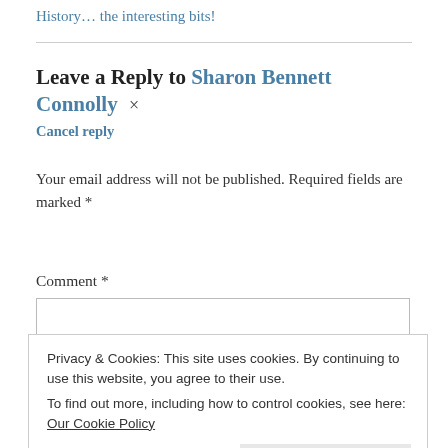History… the interesting bits!
Leave a Reply to Sharon Bennett Connolly ×
Cancel reply
Your email address will not be published. Required fields are marked *
Comment *
Privacy & Cookies: This site uses cookies. By continuing to use this website, you agree to their use.
To find out more, including how to control cookies, see here: Our Cookie Policy
Close and accept
Name